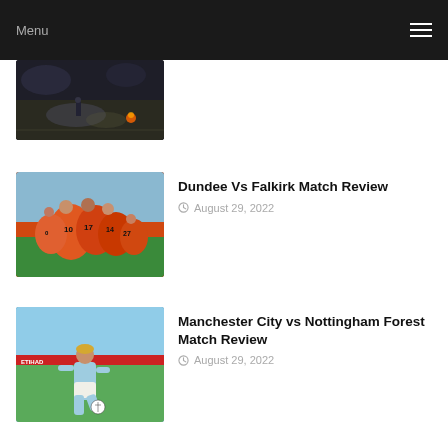Menu
[Figure (photo): Partial soccer/football article image at top, dark atmosphere with smoke or flares on a football pitch, manager/coach standing on sideline]
[Figure (photo): Dundee Vs Falkirk match review — group of footballers in orange jerseys celebrating together on pitch]
Dundee Vs Falkirk Match Review
August 29, 2022
[Figure (photo): Manchester City vs Nottingham Forest match review — player in light blue Manchester City kit dribbling ball]
Manchester City vs Nottingham Forest Match Review
August 29, 2022